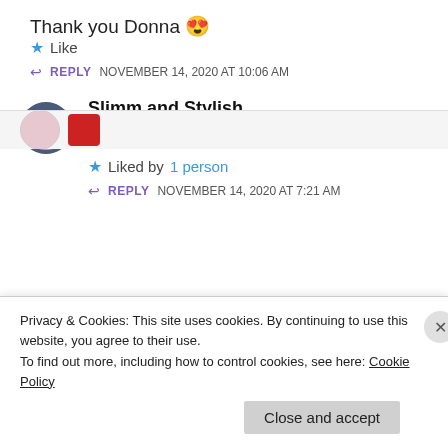Thank you Donna 😍
★ Like
↩ REPLY   NOVEMBER 14, 2020 AT 10:06 AM
Slimm and Stylish
Great project Heather 🙂
★ Liked by 1 person
↩ REPLY   NOVEMBER 14, 2020 AT 7:21 AM
Privacy & Cookies: This site uses cookies. By continuing to use this website, you agree to their use.
To find out more, including how to control cookies, see here: Cookie Policy
Close and accept